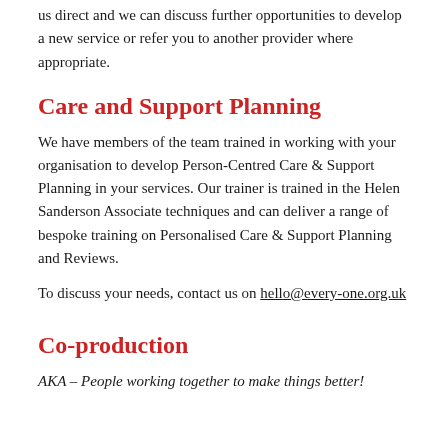us direct and we can discuss further opportunities to develop a new service or refer you to another provider where appropriate.
Care and Support Planning
We have members of the team trained in working with your organisation to develop Person-Centred Care & Support Planning in your services. Our trainer is trained in the Helen Sanderson Associate techniques and can deliver a range of bespoke training on Personalised Care & Support Planning and Reviews.
To discuss your needs, contact us on hello@every-one.org.uk
Co-production
AKA – People working together to make things better!